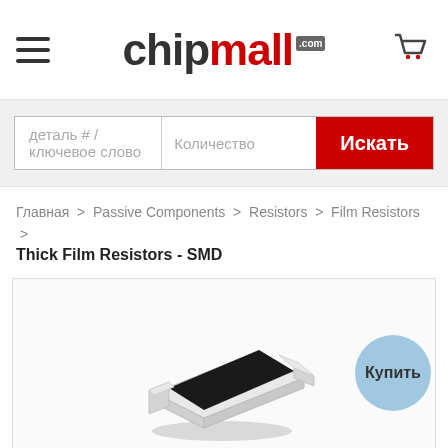[Figure (logo): chipmall.com logo with hamburger menu and cart icon]
деталь # / ключевое слово   Количество   Искать
Главная > Passive Components > Resistors > Film Resistors > Thick Film Resistors - SMD
[Figure (photo): SMD thick film resistor component photo with Купить (Buy) badge]